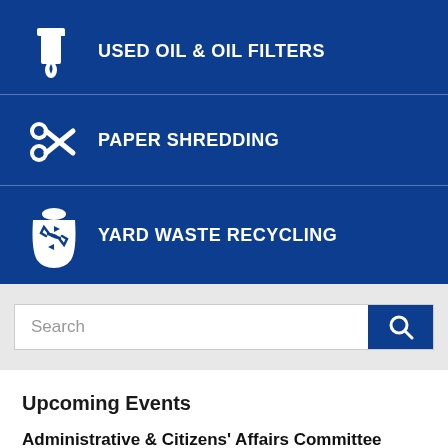USED OIL & OIL FILTERS
PAPER SHREDDING
YARD WASTE RECYCLING
[Figure (screenshot): Search input bar with magnifying glass icon button]
Upcoming Events
Administrative & Citizens' Affairs Committee Meeting